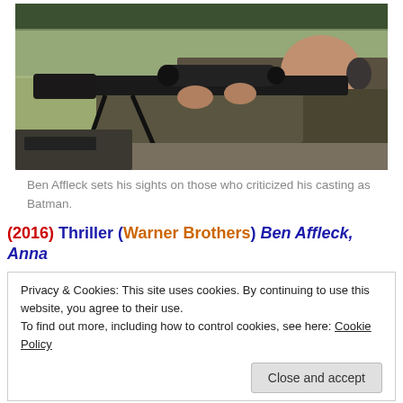[Figure (photo): Man in military/tactical clothing aiming a large sniper rifle with scope and bipod at a firing range, lying prone, outdoors with field in background.]
Ben Affleck sets his sights on those who criticized his casting as Batman.
(2016) Thriller (Warner Brothers) Ben Affleck, Anna
Privacy & Cookies: This site uses cookies. By continuing to use this website, you agree to their use.
To find out more, including how to control cookies, see here: Cookie Policy
Close and accept
Basaraba, Fernando Chien, Alex Collins, Sheila